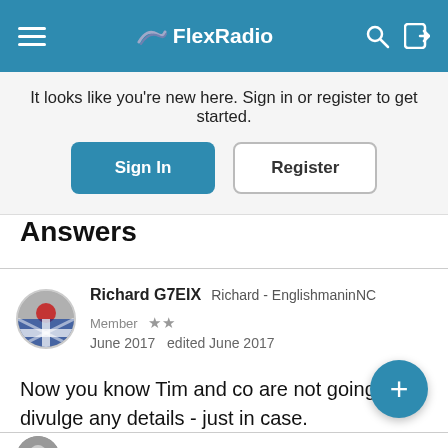FlexRadio
It looks like you're new here. Sign in or register to get started.
Answers
Richard G7EIX   Richard - EnglishmaninNC   Member  ★★
June 2017   edited June 2017
Now you know Tim and co are not going to divulge any details - just in case.

I suspect we will find out in the next 10 days.... :-